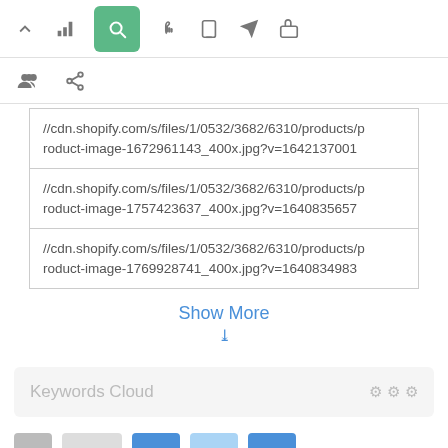[Figure (screenshot): App toolbar with icons: up-arrow, bar-chart, search (active/green), hand pointer, mobile, send, thumbs-up]
[Figure (screenshot): Second toolbar row with people/group icon and chain-link icon]
| //cdn.shopify.com/s/files/1/0532/3682/6310/products/product-image-1672961143_400x.jpg?v=1642137001 |
| //cdn.shopify.com/s/files/1/0532/3682/6310/products/product-image-1757423637_400x.jpg?v=1640835657 |
| //cdn.shopify.com/s/files/1/0532/3682/6310/products/product-image-1769928741_400x.jpg?v=1640834983 |
Show More
Keywords Cloud